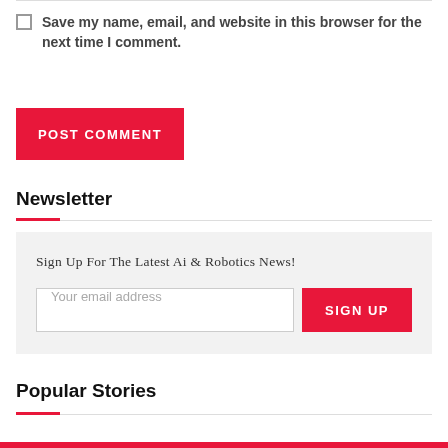Save my name, email, and website in this browser for the next time I comment.
POST COMMENT
Newsletter
Sign Up For The Latest Ai & Robotics News!
Your email address
SIGN UP
Popular Stories